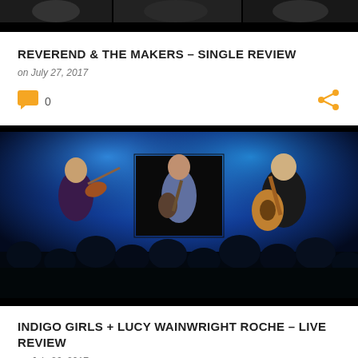[Figure (photo): Top partial image strip showing performers (cropped)]
REVEREND & THE MAKERS – SINGLE REVIEW
on July 27, 2017
0
[Figure (photo): Concert photo of three performers on stage with blue stage lighting: a violinist on the left, a guitarist in the center, and another guitarist on the right, with audience silhouettes in the foreground]
INDIGO GIRLS + LUCY WAINWRIGHT ROCHE – LIVE REVIEW
on July 26, 2017